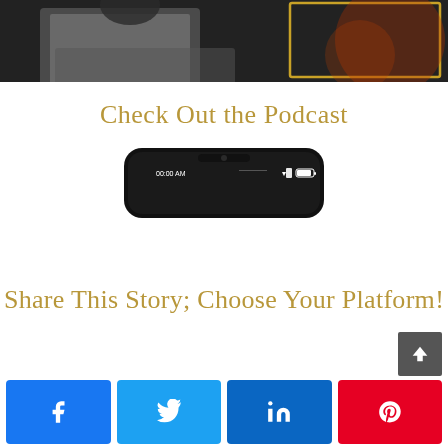[Figure (photo): Partial photo at top showing a person working on a laptop in a dark environment with a golden frame overlay]
Check Out the Podcast
[Figure (photo): Top portion of a smartphone showing the status bar with time 00:00 AM and signal/battery indicators]
Share This Story; Choose Your Platform!
[Figure (infographic): Row of four social share buttons: Facebook (blue), Twitter (light blue), LinkedIn (dark blue), Pinterest (red), plus a dark grey scroll-to-top arrow button]